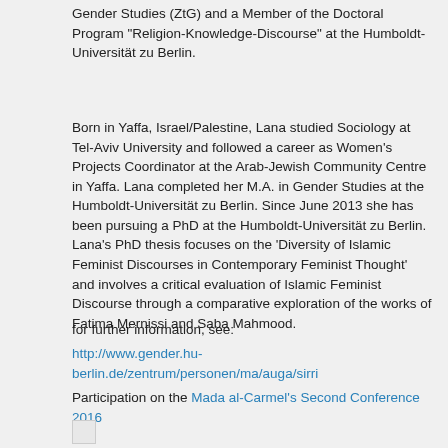Gender Studies (ZtG) and a Member of the Doctoral Program "Religion-Knowledge-Discourse" at the Humboldt-Universität zu Berlin.
Born in Yaffa, Israel/Palestine, Lana studied Sociology at Tel-Aviv University and followed a career as Women's Projects Coordinator at the Arab-Jewish Community Centre in Yaffa. Lana completed her M.A. in Gender Studies at the Humboldt-Universität zu Berlin. Since June 2013 she has been pursuing a PhD at the Humboldt-Universität zu Berlin. Lana's PhD thesis focuses on the 'Diversity of Islamic Feminist Discourses in Contemporary Feminist Thought' and involves a critical evaluation of Islamic Feminist Discourse through a comparative exploration of the works of Fatima Mernissi and Saba Mahmood.
for further information, see:
http://www.gender.hu-berlin.de/zentrum/personen/ma/auga/sirri
Participation on the Mada al-Carmel's Second Conference 2016
[Figure (other): Small light gray square box]